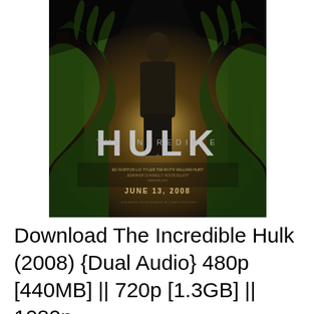[Figure (photo): Movie poster for The Incredible Hulk (2008). Dark cinematic image showing a man standing in the center with large green Hulk hands/arms on either side. City destruction in the background with golden light. Large stylized text reads 'HULK' with 'THE INCREDIBLE' above it. Text at bottom reads 'JUNE 13, 2008'. Movie credits text in small type below the title.]
Download The Incredible Hulk (2008) {Dual Audio} 480p [440MB] || 720p [1.3GB] || 1080p